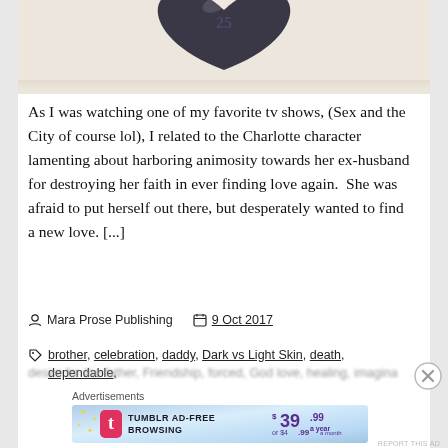[Figure (photo): Top portion of a dark metallic heart-shaped pendant with the number 25, against a soft warm beige/cream background. Only the bottom half of the heart is visible as the image is cropped at the top.]
As I was watching one of my favorite tv shows, (Sex and the City of course lol), I related to the Charlotte character lamenting about harboring animosity towards her ex-husband for destroying her faith in ever finding love again.  She was afraid to put herself out there, but desperately wanted to find a new love. [...]
Mara Prose Publishing   9 Oct 2017
brother, celebration, daddy, Dark vs Light Skin, death, dependable,
desire for the father, Friendship, forced, God love, healing, imagination, love
Advertisements
[Figure (screenshot): Tumblr Ad-Free Browsing advertisement banner. Blue gradient background with Tumblr 't' logo in red, text 'TUMBLR AD-FREE BROWSING' and pricing '$39.99 a year or $4.99 a month' in purple on the right side, with gold sparkle stars on the left.]
REPORT THIS AD